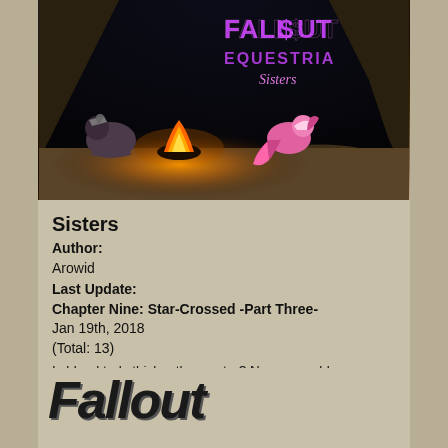[Figure (illustration): Cover art for 'Fallout Equestria: Sisters' showing two cartoon pony characters near a campfire in a dark cave, with the title 'Fallout Equestria Sisters' displayed in glowing neon text at the top right]
Sisters
Author:
Arowid
Last Update:
Chapter Nine: Star-Crossed -Part Three-
Jan 19th, 2018
(Total: 13)
Is blood truly thicker than water? No one could answer that question better, or in more exhausting detail, than Candy Stripes. As a talented doctor in Stable 76, Candy has nursed more ponies back to health than most of us will ever know. But the…
[Figure (illustration): Partial view of large stylized 'Fallout' logo text in dark italic font at the bottom of the page]